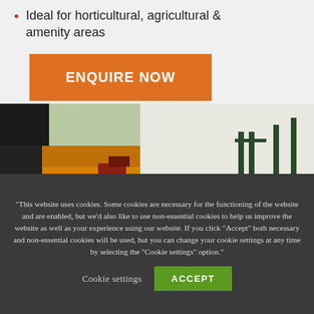Ideal for horticultural, agricultural & amenity areas
ENQUIRE NOW
[Figure (photo): Outdoor scene showing orange/yellow agricultural machinery (D.W. Tomlin) on grass, with metal chairs and white tent structure in background]
"This website uses cookies. Some cookies are necessary for the functioning of the website and are enabled, but we'd also like to use non-essential cookies to help us improve the website as well as your experience using our website. If you click "Accept" both necessary and non-essential cookies will be used, but you can change your cookie settings at any time by selecting the “Cookie settings” option."
Cookie settings
ACCEPT